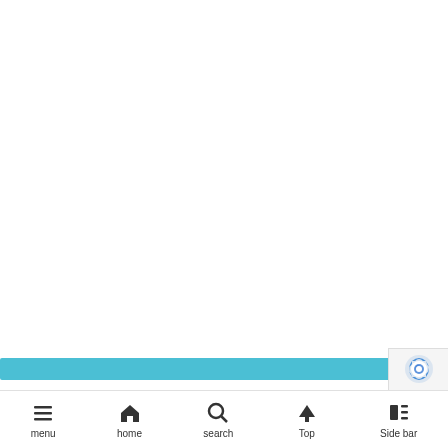[Figure (screenshot): White blank content area]
[Figure (other): Teal/cyan horizontal bar at bottom of content area with reCAPTCHA badge on the right]
menu  home  search  Top  Side bar